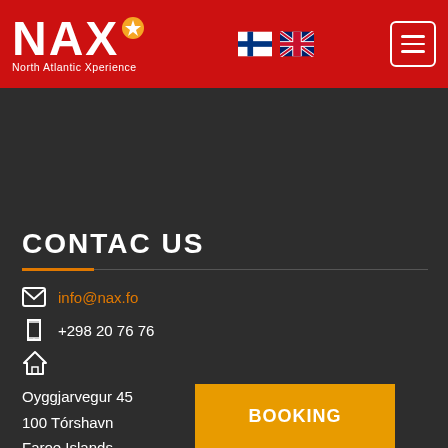NAX North Atlantic Xperience
CONTAC US
info@nax.fo
+298 20 76 76
Oyggjarvegur 45
100 Tórshavn
Faroe Islands
BOOKING